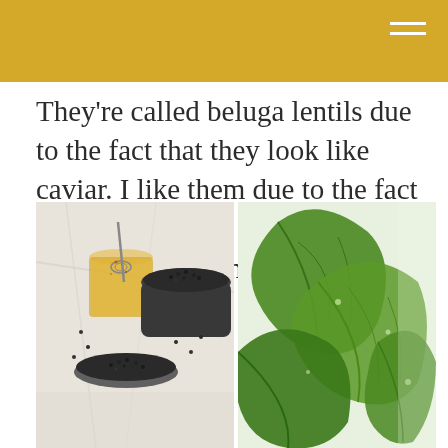[Figure (other): Golden/amber colored header bar with hamburger menu icon (three white horizontal lines) in top right corner]
They're called beluga lentils due to the fact that they look like caviar. I like them due to the fact that they prepare in about 25 minutes and maintain their shape well.
[Figure (photo): Left photo: overhead view of beluga lentils in bowls/jars on a marble surface with a small glass jar of dressing being whisked. Right photo: close-up of fresh green spinach leaves.]